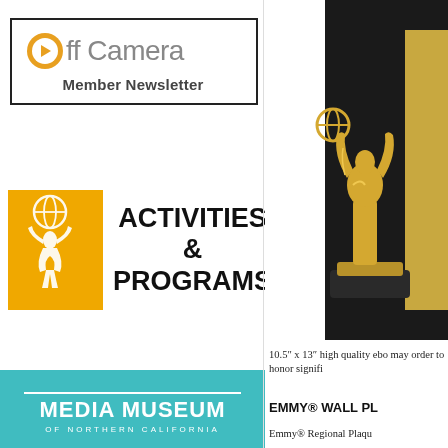[Figure (logo): Off Camera Member Newsletter logo in a bordered box with circular icon and grey text]
[Figure (logo): Activities & Programs logo with golden Emmy statuette figure on orange/yellow background and bold black text]
[Figure (logo): Media Museum of Northern California logo on teal/cyan background with white text]
[Figure (photo): Emmy Award golden statuette on black base against dark background, partially cropped]
10.5″ x 13″ high quality ebo may order to honor signifi
EMMY® WALL PL
Emmy® Regional Plaqu